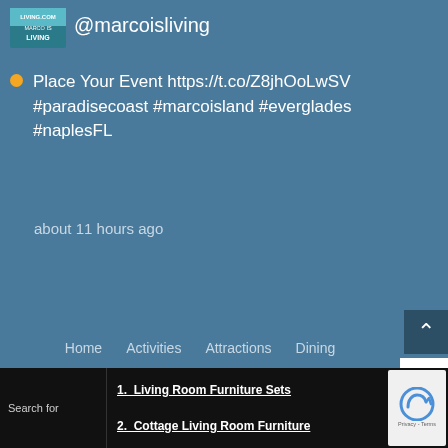[Figure (logo): Marco Is Living website logo thumbnail]
@marcoisliving
Place Your Event https://t.co/Z8jhOoLwSV #paradisecoast #marcoisland #everglades #naplesFl
about 11 hours ago
Home   Activities   Attractions   Dining   Lodging   Real Estate   Content   Advertise   Contact   Sitemap
[Figure (infographic): Social media icons: Facebook, Twitter, Instagram]
Search for
1. Living Room Furniture Sets
2. Cottage Living Room Furniture
[Figure (other): reCAPTCHA Privacy - Terms badge]